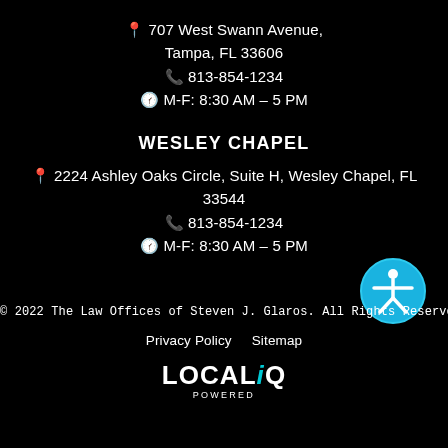📍 707 West Swann Avenue, Tampa, FL 33606
📞 813-854-1234
🕐 M-F: 8:30 AM – 5 PM
WESLEY CHAPEL
📍 2224 Ashley Oaks Circle, Suite H, Wesley Chapel, FL 33544
📞 813-854-1234
🕐 M-F: 8:30 AM – 5 PM
[Figure (illustration): Accessibility icon — blue circle with white person figure with arms outstretched]
© 2022 The Law Offices of Steven J. Glaros. All Rights Reserved.
Privacy Policy   Sitemap
LOCALiQ POWERED